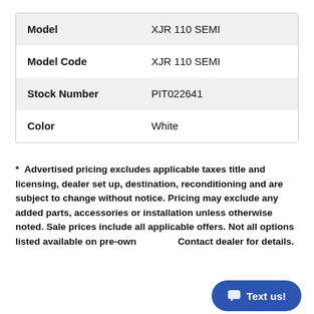| Model | XJR 110 SEMI |
| Model Code | XJR 110 SEMI |
| Stock Number | PIT022641 |
| Color | White |
*  Advertised pricing excludes applicable taxes title and licensing, dealer set up, destination, reconditioning and are subject to change without notice. Pricing may exclude any added parts, accessories or installation unless otherwise noted. Sale prices include all applicable offers. Not all options listed available on pre-owned units. Contact dealer for details.